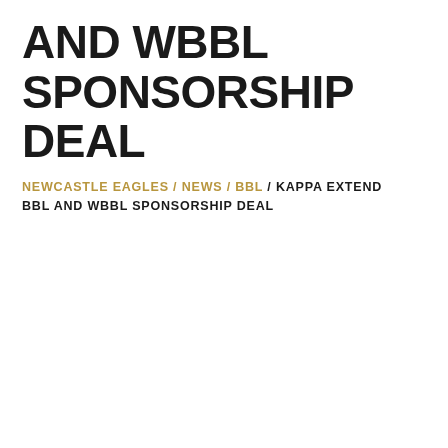AND WBBL SPONSORSHIP DEAL
NEWCASTLE EAGLES / NEWS / BBL / KAPPA EXTEND BBL AND WBBL SPONSORSHIP DEAL